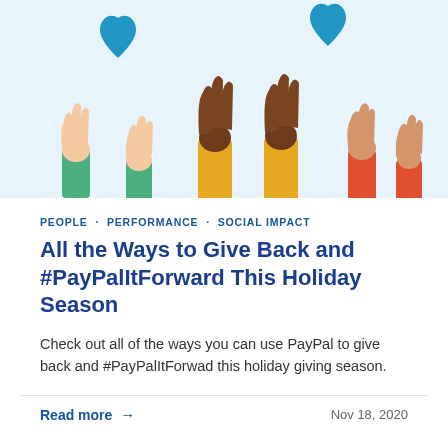[Figure (illustration): Illustration of diverse hands raised upward toward blue hearts on a light blue background, representing giving and community.]
PEOPLE . PERFORMANCE . SOCIAL IMPACT
All the Ways to Give Back and #PayPalItForward This Holiday Season
Check out all of the ways you can use PayPal to give back and #PayPalItForwad this holiday giving season.
Read more →
Nov 18, 2020